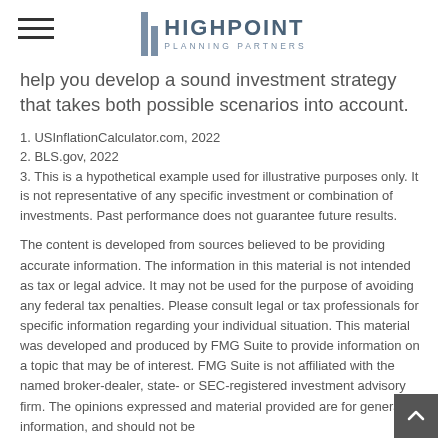HIGHPOINT PLANNING PARTNERS
help you develop a sound investment strategy that takes both possible scenarios into account.
1. USInflationCalculator.com, 2022
2. BLS.gov, 2022
3. This is a hypothetical example used for illustrative purposes only. It is not representative of any specific investment or combination of investments. Past performance does not guarantee future results.
The content is developed from sources believed to be providing accurate information. The information in this material is not intended as tax or legal advice. It may not be used for the purpose of avoiding any federal tax penalties. Please consult legal or tax professionals for specific information regarding your individual situation. This material was developed and produced by FMG Suite to provide information on a topic that may be of interest. FMG Suite is not affiliated with the named broker-dealer, state- or SEC-registered investment advisory firm. The opinions expressed and material provided are for general information, and should not be